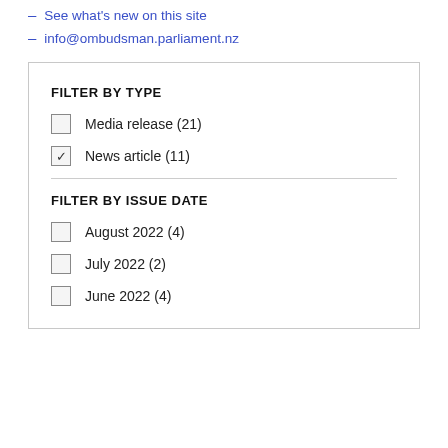– See what's new on this site
– info@ombudsman.parliament.nz
FILTER BY TYPE
Media release (21)
News article (11)
FILTER BY ISSUE DATE
August 2022 (4)
July 2022 (2)
June 2022 (4)